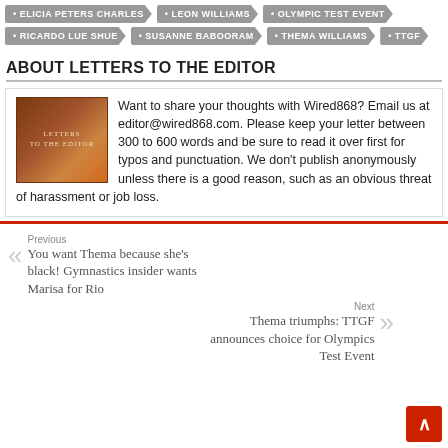• ELICIA PETERS CHARLES
• LEON WILLIAMS
• OLYMPIC TEST EVENT
• RICARDO LUE SHUE
• SUSANNE BABOORAM
• THEMA WILLIAMS
• TTGF
ABOUT LETTERS TO THE EDITOR
Want to share your thoughts with Wired868? Email us at editor@wired868.com. Please keep your letter between 300 to 600 words and be sure to read it over first for typos and punctuation. We don't publish anonymously unless there is a good reason, such as an obvious threat of harassment or job loss.
Previous
You want Thema because she's black! Gymnastics insider wants Marisa for Rio
Next
Thema triumphs: TTGF announces choice for Olympics Test Event